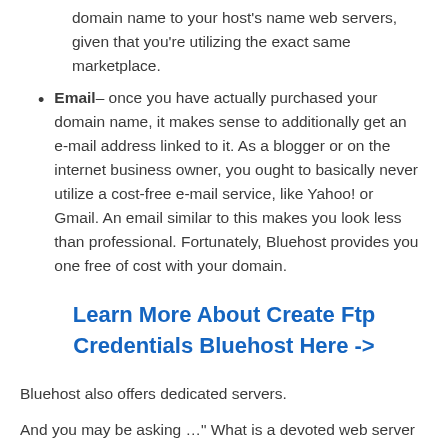domain name to your host's name web servers, given that you're utilizing the exact same marketplace.
Email– once you have actually purchased your domain name, it makes sense to additionally get an e-mail address linked to it. As a blogger or on the internet business owner, you ought to basically never utilize a cost-free e-mail service, like Yahoo! or Gmail. An email similar to this makes you look less than professional. Fortunately, Bluehost provides you one free of cost with your domain.
Learn More About Create Ftp Credentials Bluehost Here ->
Bluehost also offers dedicated servers.
And you may be asking …" What is a devoted web server